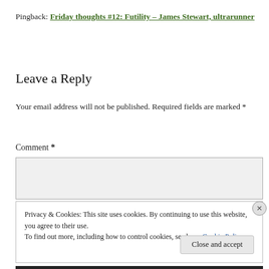Pingback: Friday thoughts #12: Futility – James Stewart, ultrarunner
Leave a Reply
Your email address will not be published. Required fields are marked *
Comment *
Privacy & Cookies: This site uses cookies. By continuing to use this website, you agree to their use.
To find out more, including how to control cookies, see here: Cookie Policy
Close and accept